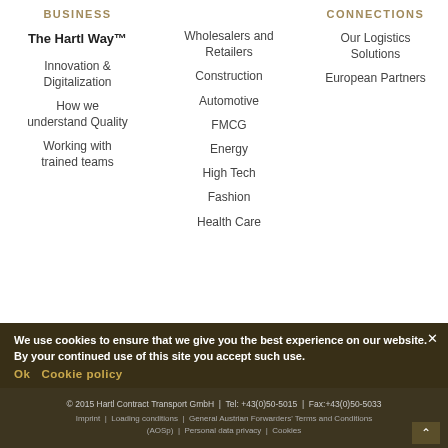BUSINESS
The Hartl Way™
Innovation & Digitalization
How we understand Quality
Working with trained teams
CONNECTIONS
Wholesalers and Retailers
Construction
Automotive
FMCG
Energy
High Tech
Fashion
Health Care
Our Logistics Solutions
European Partners
We use cookies to ensure that we give you the best experience on our website. By your continued use of this site you accept such use.
Ok  Cookie policy
© 2015 Hartl Contract Transport GmbH | Tel: +43(0)50-5015 | Fax:+43(0)50-5033
Imprint | Loading conditions | General Austrian Forwarders' Terms and Conditions (AOSp) | Personal data privacy | Cookies